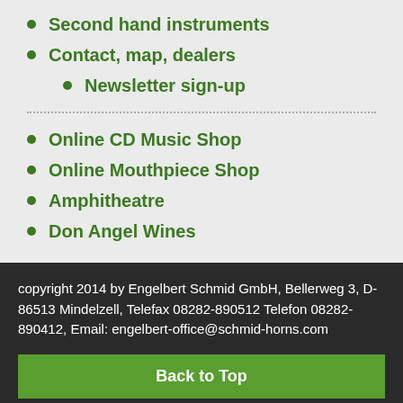Second hand instruments
Contact, map, dealers
Newsletter sign-up
Online CD Music Shop
Online Mouthpiece Shop
Amphitheatre
Don Angel Wines
copyright 2014 by Engelbert Schmid GmbH, Bellerweg 3, D-86513 Mindelzell, Telefax 08282-890512 Telefon 08282-890412, Email: engelbert-office@schmid-horns.com
Back to Top